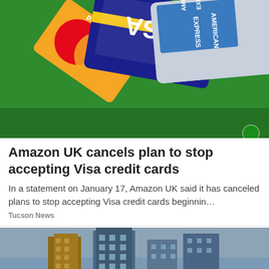[Figure (photo): Photo of three credit cards fanned out: MasterCard (red/orange on green), Visa (dark blue with yellow stripe), and American Express (silver/blue). Cards appear rotated/upside-down.]
Amazon UK cancels plan to stop accepting Visa credit cards
In a statement on January 17, Amazon UK said it has canceled plans to stop accepting Visa credit cards beginnin...
Tucson News
[Figure (photo): Photo of multi-story residential or commercial buildings against a grey-blue sky, showing several high-rise apartment blocks.]